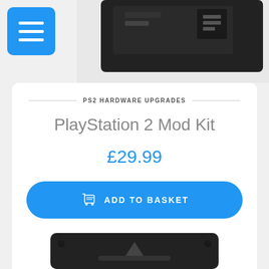[Figure (screenshot): Partial product image of a black device (PlayStation 2 Mod Kit) visible in top-right corner]
[Figure (screenshot): Blue hamburger/menu button with three white horizontal lines in top-left corner]
PS2 HARDWARE UPGRADES
PlayStation 2 Mod Kit
£29.99
ADD TO BASKET
Wishlist
[Figure (photo): Partial view of black PlayStation 2 Mod Kit device at bottom of page]